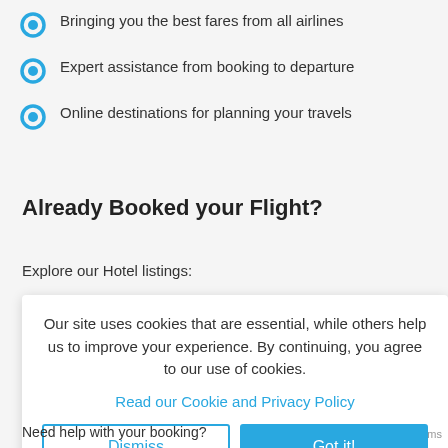Bringing you the best fares from all airlines
Expert assistance from booking to departure
Online destinations for planning your travels
Already Booked your Flight?
Explore our Hotel listings:
Our site uses cookies that are essential, while others help us to improve your experience. By continuing, you agree to our use of cookies.
Read our Cookie and Privacy Policy
Dismiss
Got it!
Need help with your booking?